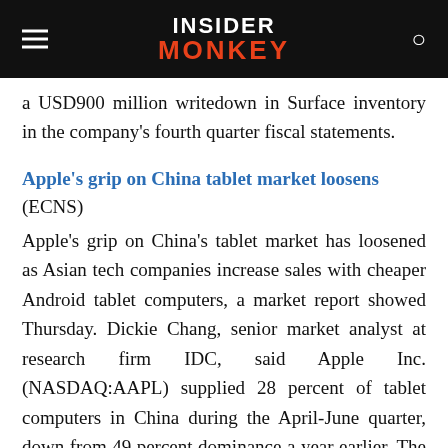Insider Monkey
a USD900 million writedown in Surface inventory in the company's fourth quarter fiscal statements.
Apple's grip on China tablet market loosens (ECNS)
Apple's grip on China's tablet market has loosened as Asian tech companies increase sales with cheaper Android tablet computers, a market report showed Thursday. Dickie Chang, senior market analyst at research firm IDC, said Apple Inc. (NASDAQ:AAPL) supplied 28 percent of tablet computers in China during the April-June quarter, down from 49 percent dominance a year earlier. The iPad maker was still the biggest tablet supplier in